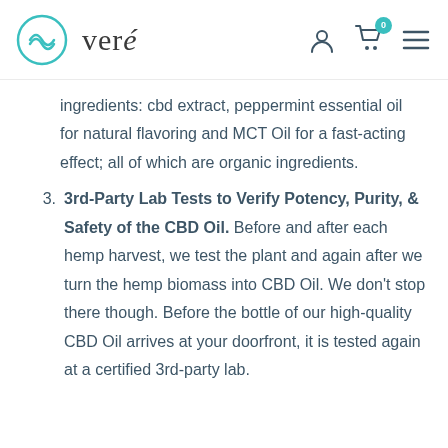veré
ingredients: cbd extract, peppermint essential oil for natural flavoring and MCT Oil for a fast-acting effect; all of which are organic ingredients.
3. 3rd-Party Lab Tests to Verify Potency, Purity, & Safety of the CBD Oil. Before and after each hemp harvest, we test the plant and again after we turn the hemp biomass into CBD Oil. We don't stop there though. Before the bottle of our high-quality CBD Oil arrives at your doorfront, it is tested again at a certified 3rd-party lab.